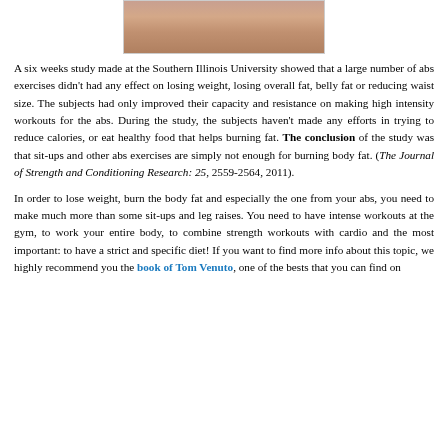[Figure (photo): Cropped photo showing a person's midsection/abdomen area with tanned skin]
A six weeks study made at the Southern Illinois University showed that a large number of abs exercises didn't had any effect on losing weight, losing overall fat, belly fat or reducing waist size. The subjects had only improved their capacity and resistance on making high intensity workouts for the abs. During the study, the subjects haven't made any efforts in trying to reduce calories, or eat healthy food that helps burning fat. The conclusion of the study was that sit-ups and other abs exercises are simply not enough for burning body fat. (The Journal of Strength and Conditioning Research: 25, 2559-2564, 2011).
In order to lose weight, burn the body fat and especially the one from your abs, you need to make much more than some sit-ups and leg raises. You need to have intense workouts at the gym, to work your entire body, to combine strength workouts with cardio and the most important: to have a strict and specific diet! If you want to find more info about this topic, we highly recommend you the book of Tom Venuto, one of the bests that you can find on